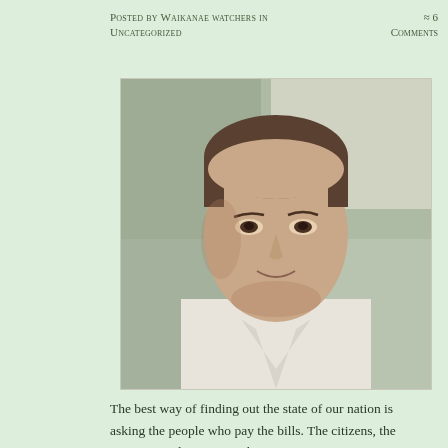Posted by Waikanae watchers in Uncategorized
≈ 6 Comments
[Figure (photo): Headshot of a man in a white collared shirt, smiling slightly, with a blurred indoor background. The photo is displayed in a light border on a pale green background.]
The best way of finding out the state of our nation is asking the people who pay the bills. The citizens, the taxpayers, who go to work so